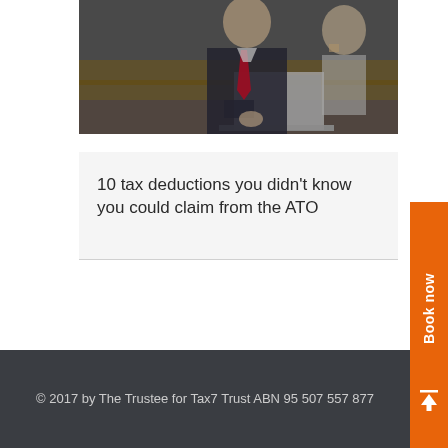[Figure (photo): Two business professionals working at a laptop computer in a café or office setting. A man in a dark suit with red tie is in the foreground and a woman is in the background.]
10 tax deductions you didn't know you could claim from the ATO
© 2017 by The Trustee for Tax7 Trust ABN 95 507 557 877